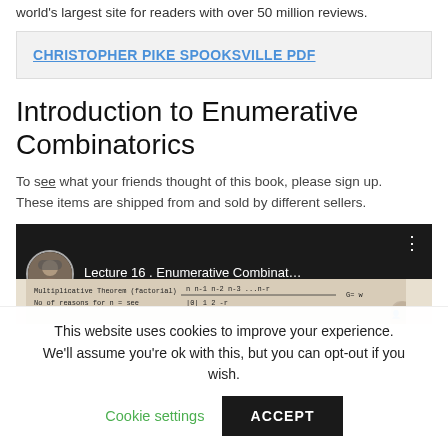world's largest site for readers with over 50 million reviews.
CHRISTOPHER PIKE SPOOKSVILLE PDF
Introduction to Enumerative Combinatorics
To see what your friends thought of this book, please sign up. These items are shipped from and sold by different sellers.
[Figure (screenshot): Video thumbnail showing a lecture titled 'Lecture 16 . Enumerative Combinat...' with a presenter avatar and a whiteboard with mathematical content visible in the background.]
This website uses cookies to improve your experience. We'll assume you're ok with this, but you can opt-out if you wish. Cookie settings ACCEPT